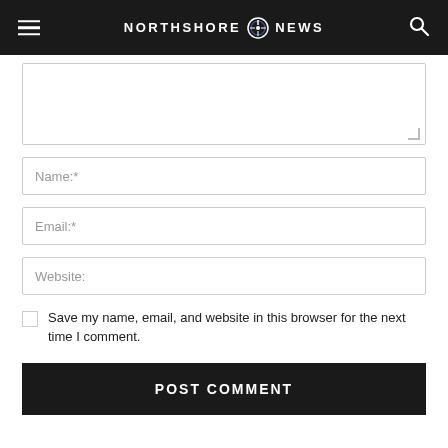NORTHSHORE NEWS
[Figure (screenshot): Comment form textarea (empty)]
Name:*
Email:*
Website:
Save my name, email, and website in this browser for the next time I comment.
POST COMMENT